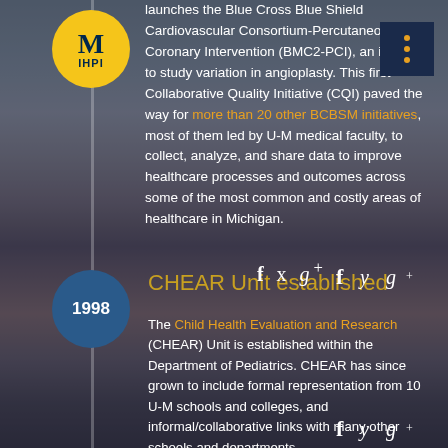[Figure (logo): University of Michigan IHPI yellow circle logo with M and IHPI text]
launches the Blue Cross Blue Shield Cardiovascular Consortium-Percutaneous Coronary Intervention (BMC2-PCI), an initiative to study variation in angioplasty. This first Collaborative Quality Initiative (CQI) paved the way for more than 20 other BCBSM initiatives, most of them led by U-M medical faculty, to collect, analyze, and share data to improve healthcare processes and outcomes across some of the most common and costly areas of healthcare in Michigan.
f y g+
CHEAR Unit established
1998
The Child Health Evaluation and Research (CHEAR) Unit is established within the Department of Pediatrics. CHEAR has since grown to include formal representation from 10 U-M schools and colleges, and informal/collaborative links with many other schools and departments.
f y g+